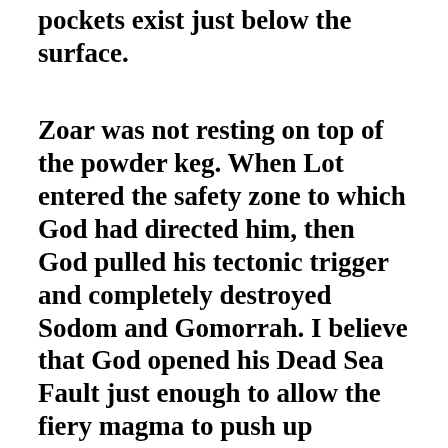pockets exist just below the surface.
Zoar was not resting on top of the powder keg. When Lot entered the safety zone to which God had directed him, then God pulled his tectonic trigger and completely destroyed Sodom and Gomorrah. I believe that God opened his Dead Sea Fault just enough to allow the fiery magma to push up through the vents of salt layers he had long saturated with sulfur and